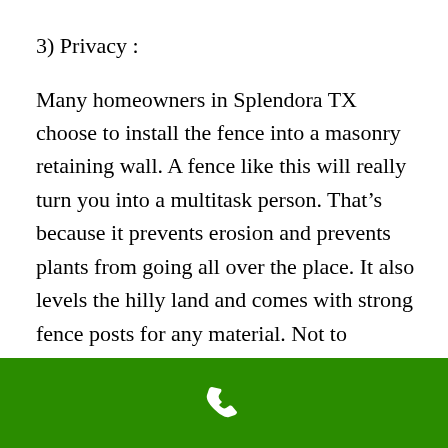3) Privacy :
Many homeowners in Splendora TX choose to install the fence into a masonry retaining wall. A fence like this will really turn you into a multitask person. That’s because it prevents erosion and prevents plants from going all over the place. It also levels the hilly land and comes with strong fence posts for any material. Not to mention that you will pay less with a
[Figure (illustration): White telephone handset icon centered on a green rectangular bar at the bottom of the page]